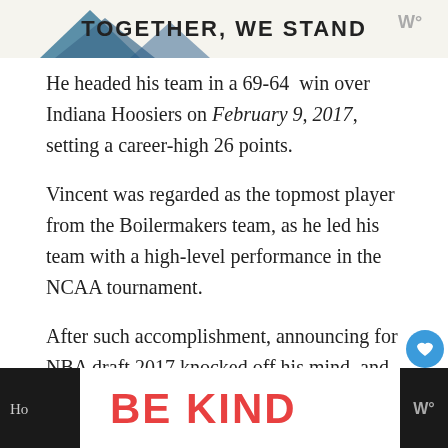[Figure (illustration): Top banner with colorful mountain/hill shapes and bold text 'TOGETHER, WE STAND' with a W° logo on the right]
He headed his team in a 69-64 win over Indiana Hoosiers on February 9, 2017, setting a career-high 26 points.
Vincent was regarded as the topmost player from the Boilermakers team, as he led his team with a high-level performance in the NCAA tournament.
After such accomplishment, announcing for NBA draft 2017 knocked off his mind, and he did so without hiring an agent.
[Figure (illustration): Bottom advertisement banner showing 'BE KIND' text in colorful letters with decorative script, a close X button, and W° logo on dark background]